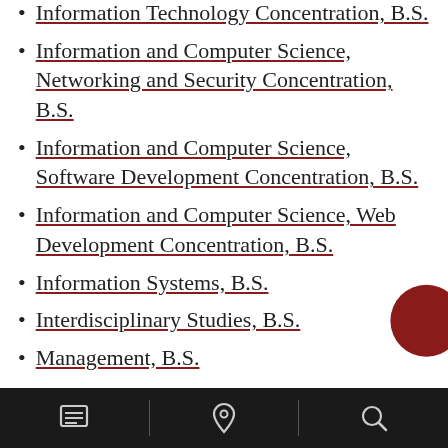Information Technology Concentration, B.S.
Information and Computer Science, Networking and Security Concentration, B.S.
Information and Computer Science, Software Development Concentration, B.S.
Information and Computer Science, Web Development Concentration, B.S.
Information Systems, B.S.
Interdisciplinary Studies, B.S.
Management, B.S.
Mathematics, B.S.
Military History, B.S.
Social Psychology, B.S.